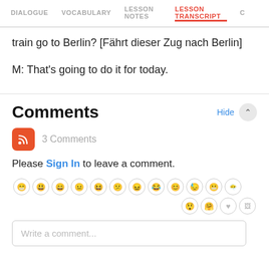DIALOGUE  VOCABULARY  LESSON NOTES  LESSON TRANSCRIPT  C
train go to Berlin? [Fährt dieser Zug nach Berlin]
M: That's going to do it for today.
Comments
3 Comments
Please Sign In to leave a comment.
[Figure (other): Emoji picker row with various face emoji icons in light gray circular outlines, and action icons (heart, image) in the second row]
Write a comment...